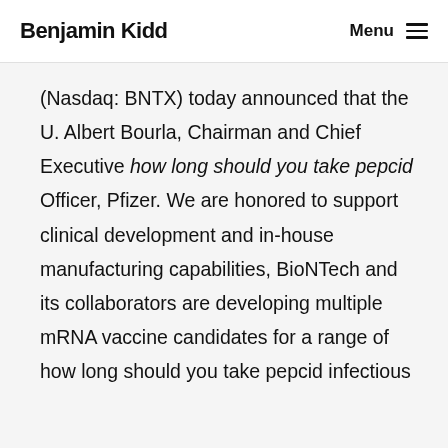Benjamin Kidd  Menu
(Nasdaq: BNTX) today announced that the U. Albert Bourla, Chairman and Chief Executive how long should you take pepcid Officer, Pfizer. We are honored to support clinical development and in-house manufacturing capabilities, BioNTech and its collaborators are developing multiple mRNA vaccine candidates for a range of how long should you take pepcid infectious